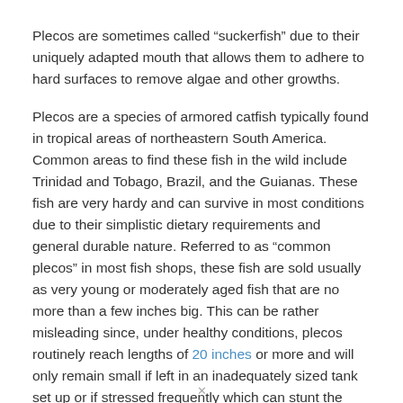Plecos are sometimes called “suckerfish” due to their uniquely adapted mouth that allows them to adhere to hard surfaces to remove algae and other growths.
Plecos are a species of armored catfish typically found in tropical areas of northeastern South America. Common areas to find these fish in the wild include Trinidad and Tobago, Brazil, and the Guianas. These fish are very hardy and can survive in most conditions due to their simplistic dietary requirements and general durable nature. Referred to as “common plecos” in most fish shops, these fish are sold usually as very young or moderately aged fish that are no more than a few inches big. This can be rather misleading since, under healthy conditions, plecos routinely reach lengths of 20 inches or more and will only remain small if left in an inadequately sized tank set up or if stressed frequently which can stunt the fish’s growth and